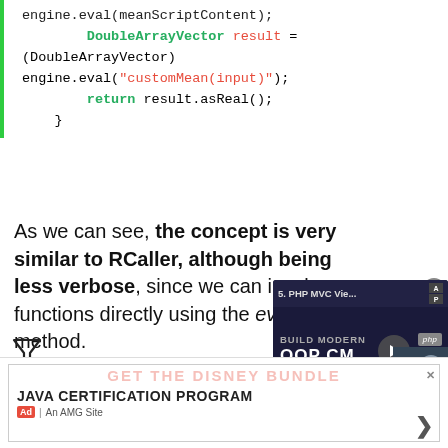engine.eval(meanScriptContent);
        DoubleArrayVector result =
(DoubleArrayVector)
engine.eval("customMean(input)");
        return result.asReal();
    }
As we can see, the concept is very similar to RCaller, although being less verbose, since we can invoke functions directly using the eval method.
[Figure (screenshot): Video overlay showing '5. PHP MVC Vie...' tutorial with 'BUILD MODERN OOP CM' text and play button, labeled '5. VIEW', with PHP badge and presenter photo]
[Figure (logo): Filter/funnel icon (Feather icon) in dark outline]
[Figure (screenshot): Advertisement banner: JAVA CERTIFICATION PROGRAM with arrow, Ad label, An AMG Site. Background shows GET THE DISNEY BUNDLE promotional text.]